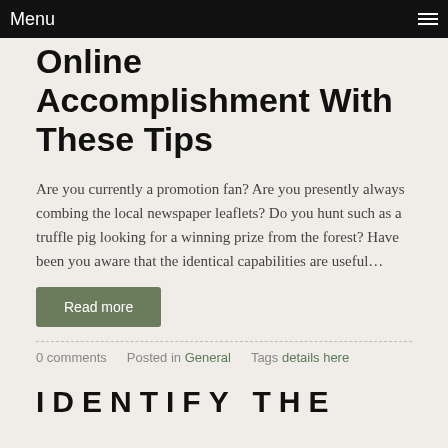Menu
Online Accomplishment With These Tips
Are you currently a promotion fan? Are you presently always combing the local newspaper leaflets? Do you hunt such as a truffle pig looking for a winning prize from the forest? Have been you aware that the identical capabilities are useful…
Read more
0 comments   Posted in General   Tags details here
IDENTIFY THE